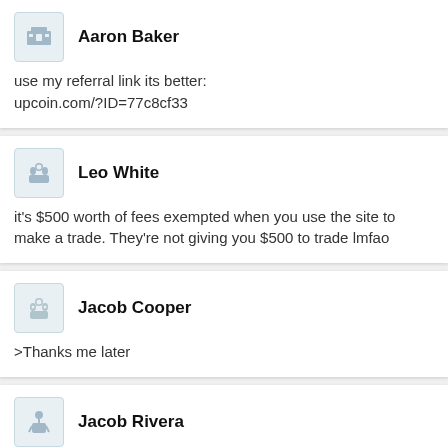Aaron Baker
use my referral link its better: upcoin.com/?ID=77c8cf33
Leo White
it's $500 worth of fees exempted when you use the site to make a trade. They're not giving you $500 to trade lmfao
Jacob Cooper
>Thanks me later
Jacob Rivera
Of course it is, otherwise people would just withdraw the 500$
But hey it's still fee free for a a good while, then 0.2 % fee